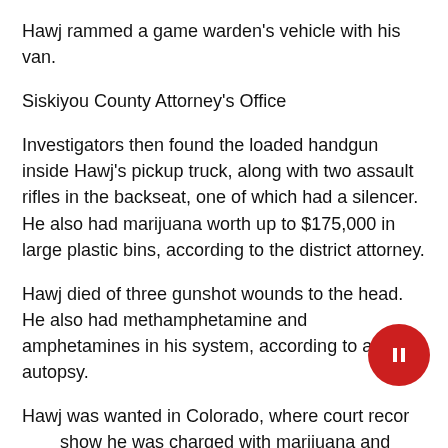Hawj rammed a game warden's vehicle with his van.
Siskiyou County Attorney's Office
Investigators then found the loaded handgun inside Hawj's pickup truck, along with two assault rifles in the backseat, one of which had a silencer. He also had marijuana worth up to $175,000 in large plastic bins, according to the district attorney.
Hawj died of three gunshot wounds to the head. He also had methamphetamine and amphetamines in his system, according to an autopsy.
Hawj was wanted in Colorado, where court records show he was charged with marijuana and firearm crimes, according to the Sacramento Bee.